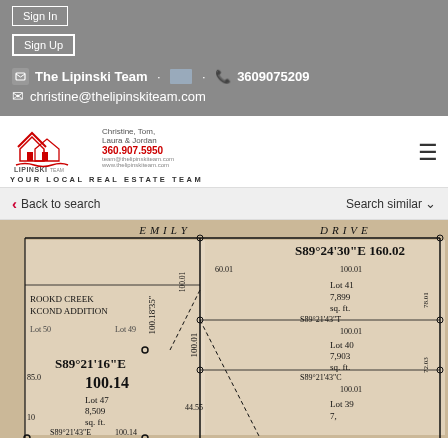Sign In
Sign Up
The Lipinski Team · 3609075209
christine@thelipinskiteam.com
[Figure (logo): Lipinski Team real estate logo with house illustration and team names: Christine, Tom, Laura & Jordan, 360.907.5950, www.thelipinskiteam.com]
YOUR LOCAL REAL ESTATE TEAM
Back to search
Search similar
[Figure (engineering-diagram): Plat map showing EMILY DRIVE with lot survey measurements. Shows lots 39-50 with bearings and distances. Key measurements: S89°24'30"E 160.02, S89°21'16"E, 100.14, S89°21'43"E. Lots include Lot 47 (8,509 sq ft), Lot 41 (7,899 sq ft), Lot 40 (7,903 sq ft), Lot 39. ROOKD CREEK KCOND ADDITION labeled on left side.]